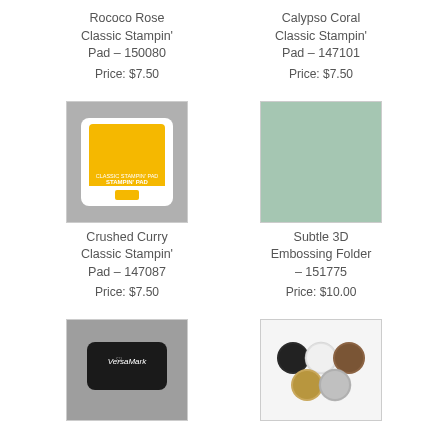Rococo Rose Classic Stampin' Pad – 150080
Price: $7.50
Calypso Coral Classic Stampin' Pad – 147101
Price: $7.50
[Figure (photo): Crushed Curry Classic Stampin' Pad product image showing yellow ink pad]
[Figure (photo): Subtle 3D Embossing Folder product image showing mint/sage green textured surface]
Crushed Curry Classic Stampin' Pad – 147087
Price: $7.50
Subtle 3D Embossing Folder – 151775
Price: $10.00
[Figure (photo): VersaMark ink pad product image on grey background]
[Figure (photo): Set of embossing powder containers on white background]